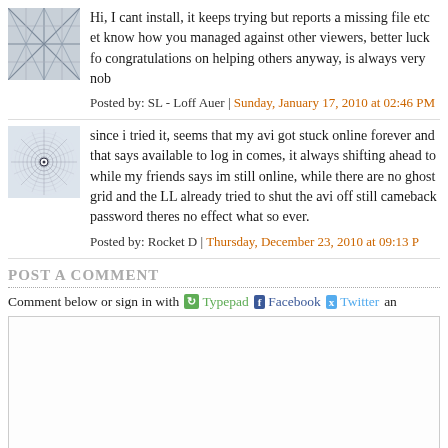Hi, I cant install, it keeps trying but reports a missing file etc etc. dont know how you managed against other viewers, better luck for me next time. congratulations on helping others anyway, is always very nob
Posted by: SL - Loff Auer | Sunday, January 17, 2010 at 02:46 PM
since i tried it, seems that my avi got stuck online forever and every time that says available to log in comes, it always shifting ahead to online, while my friends says im still online, while there are no ghost on the grid and the LL already tried to shut the avi off still cameback and change password theres no effect what so ever.
Posted by: Rocket D | Thursday, December 23, 2010 at 09:13 PM
POST A COMMENT
Comment below or sign in with Typepad Facebook Twitter an